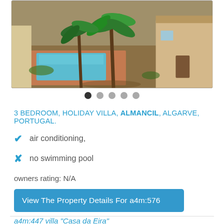[Figure (photo): Outdoor swimming pool with palm trees and a villa building in background, surrounded by reddish paving and dry garden area]
• • • • •  (5 pagination dots, first one active/black)
3 BEDROOM, HOLIDAY VILLA, ALMANCIL, ALGARVE, PORTUGAL.
✔ air conditioning,
✗ no swimming pool
owners rating: N/A
View The Property Details For a4m:576
a4m:447 villa "Casa da Eira"